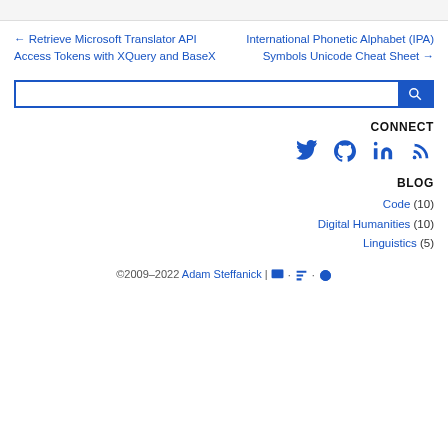← Retrieve Microsoft Translator API Access Tokens with XQuery and BaseX
International Phonetic Alphabet (IPA) Symbols Unicode Cheat Sheet →
CONNECT
[Figure (other): Social media icons: Twitter, GitHub, LinkedIn, RSS]
BLOG
Code (10)
Digital Humanities (10)
Linguistics (5)
©2009–2022 Adam Steffanick | HTML5 · CSS3 · WordPress